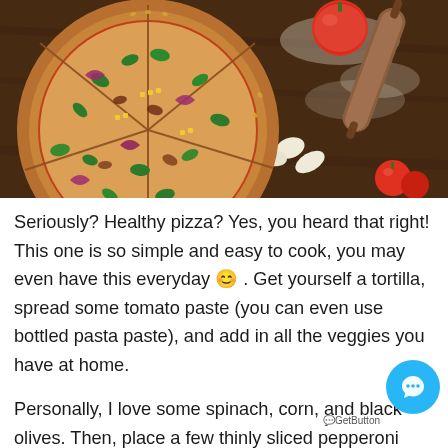[Figure (photo): A sliced pizza topped with vegetables including green peppers, red onions, and corn on a dark wooden surface, with tomatoes, garlic cloves, a rolling pin, and flour visible in the background.]
Seriously? Healthy pizza? Yes, you heard that right! This one is so simple and easy to cook, you may even have this everyday 😊 . Get yourself a tortilla, spread some tomato paste (you can even use bottled pasta paste), and add in all the veggies you have at home.
Personally, I love some spinach, corn, and black olives. Then, place a few thinly sliced pepperoni pieces onto your pizza and top it with some